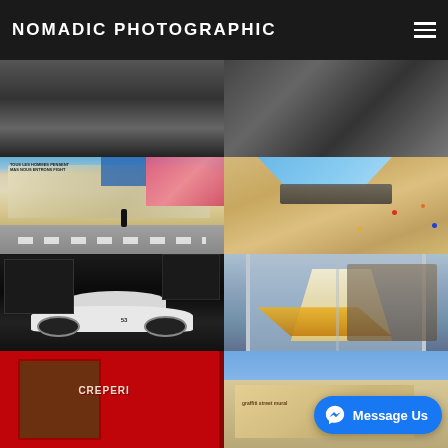NOMADIC PHOTOGRAPHIC
[Figure (photo): Partial black and white street photo, cropped at top, left column]
[Figure (photo): Partial black and white urban photo, cropped at top, right column]
[Figure (photo): Color street photography with graffiti wall, person walking, Paris street scene]
[Figure (photo): Aerial view of sandy beach with blue umbrella, people, and scattered colorful toys]
[Figure (photo): Black and white photo of a Volkswagen Beetle with number 53, dramatic low-key lighting]
[Figure (photo): Color photo inside metro/subway, woman in white and yellow dress]
[Figure (photo): Red creperie storefront with text CREPERI]
[Figure (photo): Blue sky urban street scene with graffiti building]
Message Us